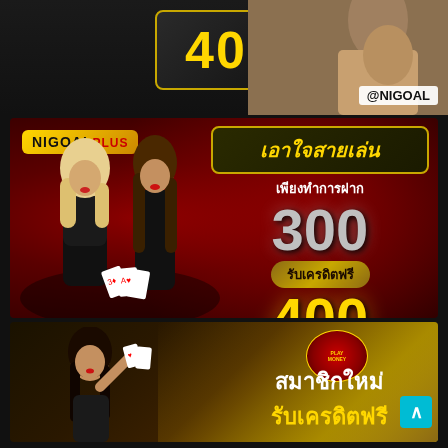[Figure (illustration): Top section showing golden number 400 in a bordered box on dark background, and a woman photo on the right with @NIGOAL watermark]
[Figure (illustration): Middle red casino banner with NIGOALPLUS logo, two women in black dresses holding cards, Thai text promotion: deposit 300 get 400 free credits]
เอาใจสายเล่น
เพียงทำการฝาก
300
รับเครดิตฟรี
400
[Figure (illustration): Bottom gold/dark banner with woman holding cards, Thai text สมาชิกใหม่ and รับเครดิตฟรี, scroll-up button, small casino logo]
สมาชิกใหม่
รับเครดิตฟรี